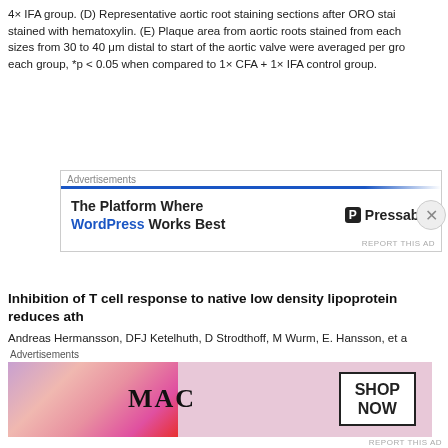4× IFA group. (D) Representative aortic root staining sections after ORO stai stained with hematoxylin. (E) Plaque area from aortic roots stained from each sizes from 30 to 40 μm distal to start of the aortic valve were averaged per gro each group, *p < 0.05 when compared to 1× CFA + 1× IFA control group.
[Figure (screenshot): Advertisement banner for Pressable - The Platform Where WordPress Works Best]
Inhibition of T cell response to native low density lipoprotein reduces ath
Andreas Hermansson, DFJ Ketelhuth, D Strodthoff, M Wurm, E. Hansson, et a J. Exp. Med. Mar 2015; 207(5): 1081-1093
http://www.jem.org/cgi/doi/10.1084/jem.20092243
Atherosclerosis is a chronic inflammatory disease in which lipoproteins accum an inflammatory response in the arterial wall. Adaptive immune responses tha clonally expanded T cell populations contribute to this process, as do innate ir responses that are mounted by macrophages and other cells. Several studies that components of low density lipoprotein (LDL) particles trigger vascul
[Figure (screenshot): Advertisement banner for MAC cosmetics showing lipstick products with SHOP NOW button]